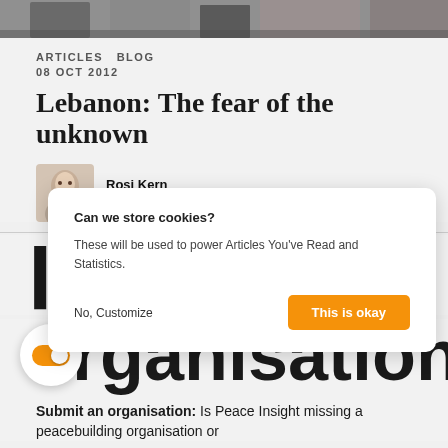[Figure (photo): Top banner photo of a building/outdoor scene, partially visible]
ARTICLES  BLOG
08 OCT 2012
Lebanon: The fear of the unknown
Rosi Kern
Lebanon
Can we store cookies?
These will be used to power Articles You've Read and Statistics.
No, Customize   This is okay
organisations
Submit an organisation: Is Peace Insight missing a peacebuilding organisation or